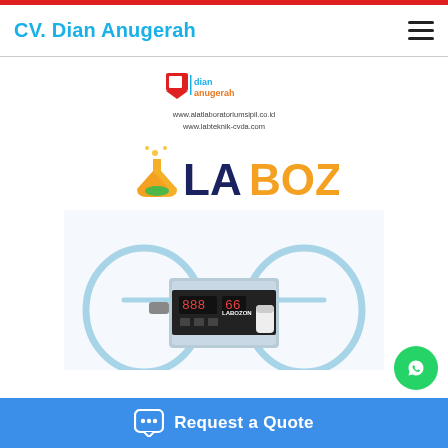CV. Dian Anugerah
[Figure (logo): Dian Anugerah brand logo with URLs: www.alatlaboratoriumsipil.co.id and www.labteknik-cvda.com]
[Figure (logo): LABOZON brand logo in navy/blue and orange colors with lab flask icon]
[Figure (photo): LABOZON laboratory equipment - a peristaltic pump or rotary device with circular hoops and digital display panel]
Request a Quote